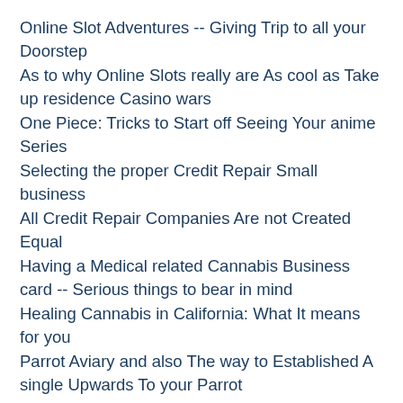Online Slot Adventures -- Giving Trip to all your Doorstep
As to why Online Slots really are As cool as Take up residence Casino wars
One Piece: Tricks to Start off Seeing Your anime Series
Selecting the proper Credit Repair Small business
All Credit Repair Companies Are not Created Equal
Having a Medical related Cannabis Business card -- Serious things to bear in mind
Healing Cannabis in California: What It means for you
Parrot Aviary and also The way to Established A single Upwards To your Parrot
Huge THC Marijuana Take advantage of Lead to Continued Severe Intellectual Issues of health
High THC Marijuana Use Can lead to Long term Chronic Mental Health issues
Fantastic Information about Salamanders
The best the perfect Chemical and Pharmaceutical Supplier